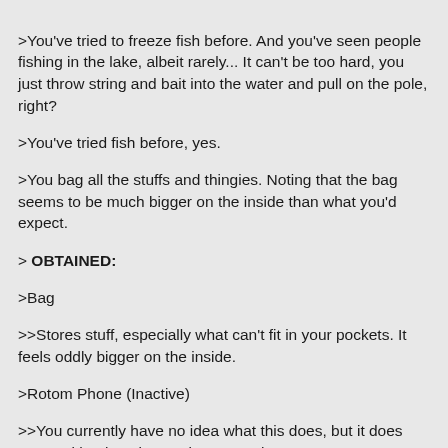>You've tried to freeze fish before. And you've seen people fishing in the lake, albeit rarely... It can't be too hard, you just throw string and bait into the water and pull on the pole, right?
>You've tried fish before, yes.
>You bag all the stuffs and thingies. Noting that the bag seems to be much bigger on the inside than what you'd expect.
> OBTAINED:
>Bag
>>Stores stuff, especially what can't fit in your pockets. It feels oddly bigger on the inside.

>Rotom Phone (Inactive)
>>You currently have no idea what this does, but it does come with a long instruction manual...

>Fishing Pole
>>An item used for fishing.

>Odd Ball (x5)
>>A red and white ball that changes size when you